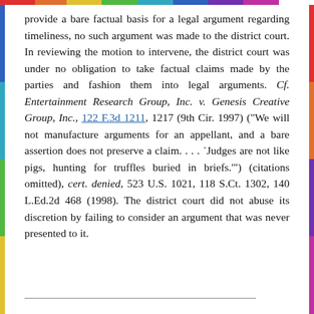provide a bare factual basis for a legal argument regarding timeliness, no such argument was made to the district court. In reviewing the motion to intervene, the district court was under no obligation to take factual claims made by the parties and fashion them into legal arguments. Cf. Entertainment Research Group, Inc. v. Genesis Creative Group, Inc., 122 F.3d 1211, 1217 (9th Cir. 1997) ("We will not manufacture arguments for an appellant, and a bare assertion does not preserve a claim. . . . `Judges are not like pigs, hunting for truffles buried in briefs.'") (citations omitted), cert. denied, 523 U.S. 1021, 118 S.Ct. 1302, 140 L.Ed.2d 468 (1998). The district court did not abuse its discretion by failing to consider an argument that was never presented to it.